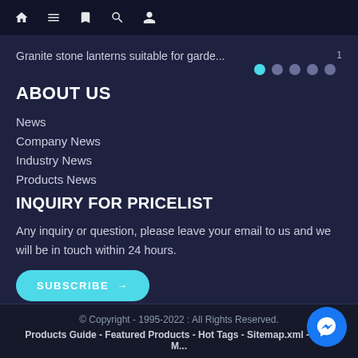Navigation bar with home, menu, bookmark, search, and profile icons
Granite stone lanterns suitable for garde...
[Figure (other): Dot pagination indicators: 5 dots with first dot active in cyan, rest gray]
ABOUT US
News
Company News
Industry News
Products News
INQUIRY FOR PRICELIST
Any inquiry or question, please leave your email to us and we will be in touch within 24 hours.
SUBSCRIBE →
© Copyright - 1995-2022 : All Rights Reserved.
Products Guide - Featured Products - Hot Tags - Sitemap.xml - AMP M...